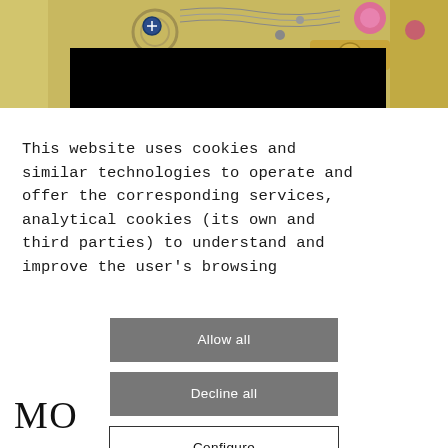[Figure (photo): Close-up photo of a luxury watch movement/mechanism with gold and silver parts, a blue screw, and pink ruby jewels visible. A black rectangle overlays the lower portion of the image.]
This website uses cookies and similar technologies to operate and offer the corresponding services, analytical cookies (its own and third parties) to understand and improve the user's browsing
Allow all
Decline all
Configure
MO